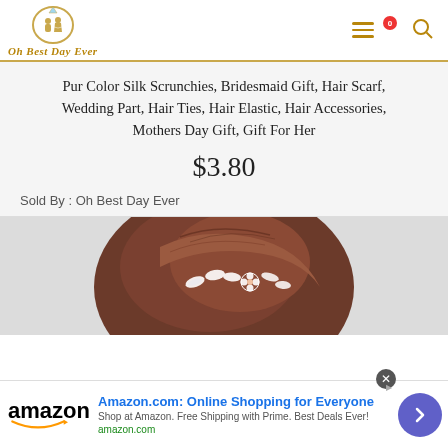Oh Best Day Ever — navigation header with logo, hamburger menu, cart (0), and search icon
Pur Color Silk Scrunchies, Bridesmaid Gift, Hair Scarf, Wedding Part, Hair Ties, Hair Elastic, Hair Accessories, Mothers Day Gift, Gift For Her
$3.80
Sold By : Oh Best Day Ever
[Figure (photo): Back of a woman's head showing an updo hairstyle decorated with pearl and crystal floral hair pins on a light gray background]
Amazon.com: Online Shopping for Everyone — Shop at Amazon. Free Shipping with Prime. Best Deals Ever! amazon.com